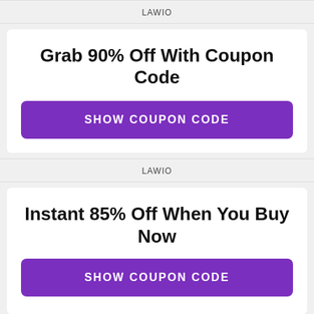LAWIO
Grab 90% Off With Coupon Code
SHOW COUPON CODE
LAWIO
Instant 85% Off When You Buy Now